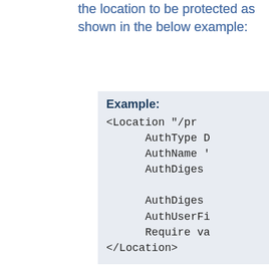the location to be protected as shown in the below example:
Example:
<Location "/pr
      AuthType D
      AuthName '
      AuthDiges

      AuthDiges
      AuthUserFi
      Require va
</Location>
AuthDigestDomain should list the locations that will be protected by this configuration.
The pasword file referenced in the AuthUserFile directive may be created and managed using the htdigest tool.